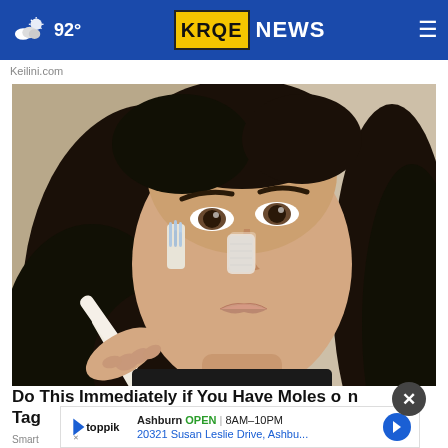92° KRQE NEWS
Keilini.com
[Figure (photo): Close-up of a woman with dark hair holding a toothbrush near her nose, appearing to apply or demonstrate a skincare technique]
Do This Immediately if You Have Moles or Skin Tags
Ashburn OPEN | 8AM–10PM
20321 Susan Leslie Drive, Ashbu...
Smart